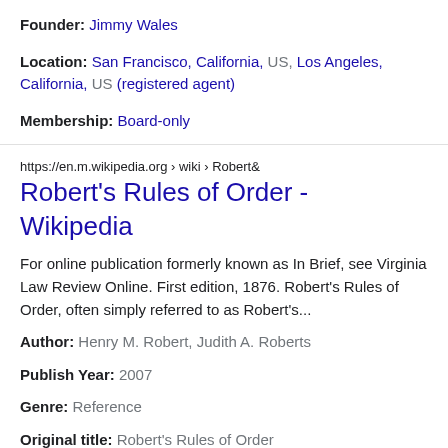Founder: Jimmy Wales
Location: San Francisco, California, US, Los Angeles, California, US (registered agent)
Membership: Board-only
https://en.m.wikipedia.org › wiki › Robert&
Robert's Rules of Order - Wikipedia
For online publication formerly known as In Brief, see Virginia Law Review Online. First edition, 1876. Robert's Rules of Order, often simply referred to as Robert's...
Author: Henry M. Robert, Judith A. Roberts
Publish Year: 2007
Genre: Reference
Original title: Robert's Rules of Order
https://www.researchgate.net › publication › 328019725
(PDF) Ethical Considerations in Constitution...